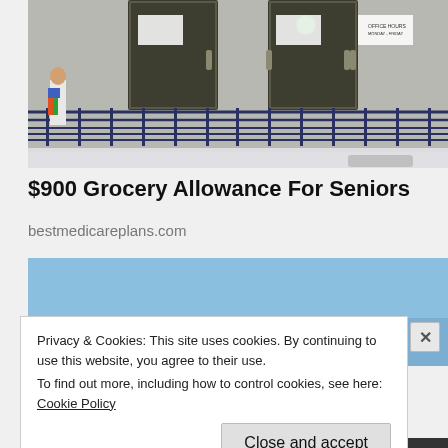[Figure (photo): Exterior of a building entrance with metal railings, glass doors, and a ramp. Signs visible on the doors. Snow visible at the bottom.]
$900 Grocery Allowance For Seniors
bestmedicareplans.com
[Figure (photo): Blue sky image, partially obscured by cookie consent banner.]
Privacy & Cookies: This site uses cookies. By continuing to use this website, you agree to their use.
To find out more, including how to control cookies, see here: Cookie Policy
Close and accept